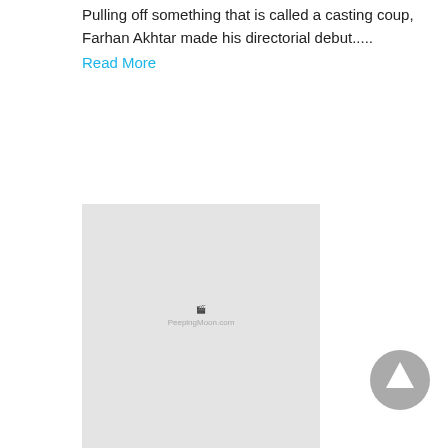Pulling off something that is called a casting coup, Farhan Akhtar made his directorial debut.....
Read More
[Figure (photo): Placeholder image with PeepingMoon.com watermark]
14-May-2021
Dulquer Salmaan to Sara Ali Khan, Bollywood celebs extend Eid wishes to fans
The country is happily celebrating the festival of Eid-ul-Fitr and wishes have been pouring in on the internet from different.....
Read More
[Figure (photo): Partially visible placeholder image at bottom of page]